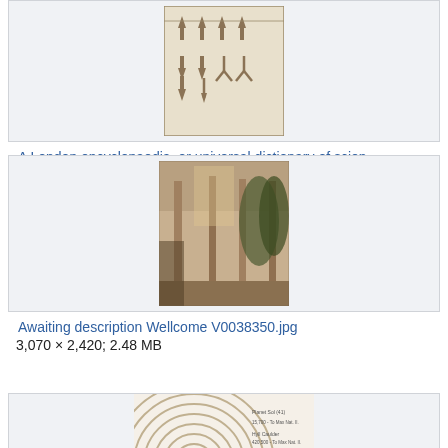[Figure (illustration): A diagram from A London encyclopaedia showing various arrow and pointer symbols, partially cut off at top]
A London encyclopaedia, or universal dictionary of scien…
1,968 × 3,168; 684 KB
[Figure (photo): Black and white historical photograph of an interior hall with ornate columns and plants, labeled Wellcome V0038350]
Awaiting description Wellcome V0038350.jpg
3,070 × 2,420; 2.48 MB
[Figure (illustration): Scientific/technical diagram partially visible at bottom of page, showing concentric arched lines with annotations]